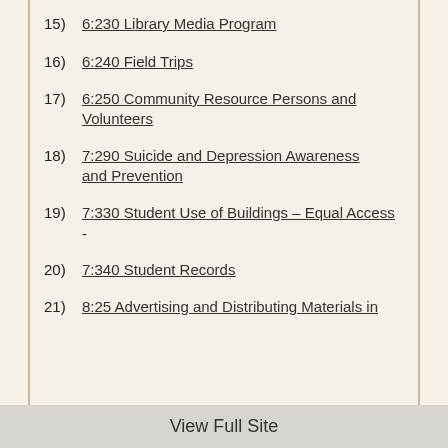15)  6:230 Library Media Program
16)  6:240 Field Trips
17)  6:250 Community Resource Persons and Volunteers
18)  7:290 Suicide and Depression Awareness and Prevention
19)  7:330 Student Use of Buildings – Equal Access
-
20)  7:340 Student Records
21)  8:25 Advertising and Distributing Materials in
View Full Site